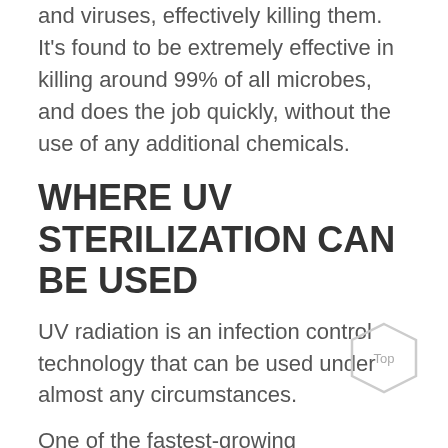and viruses, effectively killing them. It's found to be extremely effective in killing around 99% of all microbes, and does the job quickly, without the use of any additional chemicals.
WHERE UV STERILIZATION CAN BE USED
UV radiation is an infection control technology that can be used under almost any circumstances.
One of the fastest-growing applications of UV sterilization is in hospital renovation and construction
[Figure (other): Hexagonal 'Top' navigation button in the bottom right corner]